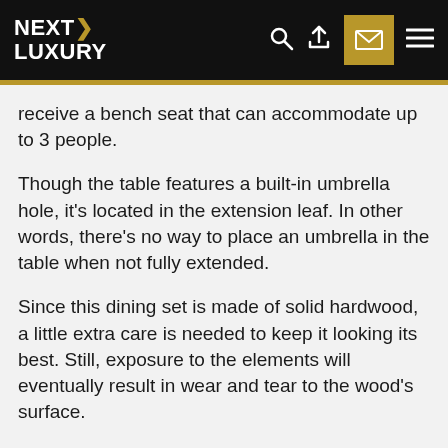NEXT LUXURY
receive a bench seat that can accommodate up to 3 people.
Though the table features a built-in umbrella hole, it's located in the extension leaf. In other words, there's no way to place an umbrella in the table when not fully extended.
Since this dining set is made of solid hardwood, a little extra care is needed to keep it looking its best. Still, exposure to the elements will eventually result in wear and tear to the wood's surface.